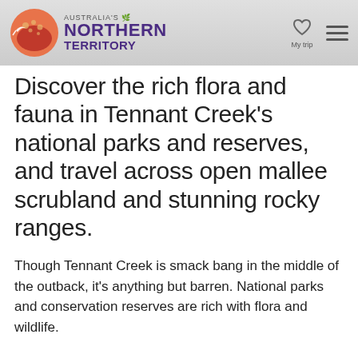Australia's Northern Territory — My trip
Discover the rich flora and fauna in Tennant Creek's national parks and reserves, and travel across open mallee scrubland and stunning rocky ranges.
Though Tennant Creek is smack bang in the middle of the outback, it's anything but barren. National parks and conservation reserves are rich with flora and wildlife.
Lagoons and waterholes